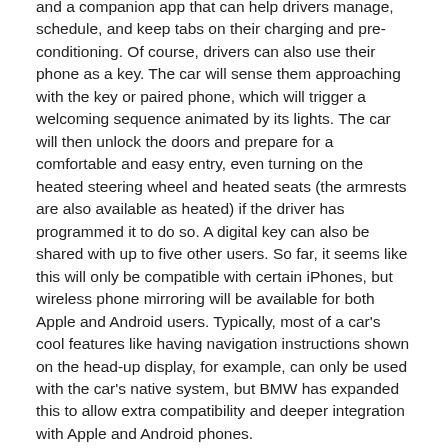and a companion app that can help drivers manage, schedule, and keep tabs on their charging and pre-conditioning. Of course, drivers can also use their phone as a key. The car will sense them approaching with the key or paired phone, which will trigger a welcoming sequence animated by its lights. The car will then unlock the doors and prepare for a comfortable and easy entry, even turning on the heated steering wheel and heated seats (the armrests are also available as heated) if the driver has programmed it to do so. A digital key can also be shared with up to five other users. So far, it seems like this will only be compatible with certain iPhones, but wireless phone mirroring will be available for both Apple and Android users. Typically, most of a car's cool features like having navigation instructions shown on the head-up display, for example, can only be used with the car's native system, but BMW has expanded this to allow extra compatibility and deeper integration with Apple and Android phones.
A head-up display and augmented reality navigation will also be featured, but the EV also has an overhead interior camera that can be used to take photos of the occupants or, more usefully, utilized as a theft protection feature. When the anti-theft alarm system is triggered, a driver will get notified on their phone and the camera can be used to take photos of any potential intruder.